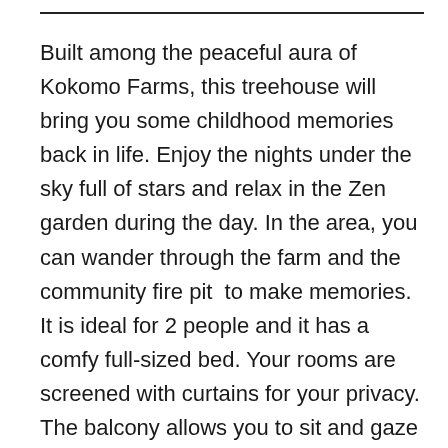Built among the peaceful aura of Kokomo Farms, this treehouse will bring you some childhood memories back in life. Enjoy the nights under the sky full of stars and relax in the Zen garden during the day. In the area, you can wander through the farm and the community fire pit  to make memories. It is ideal for 2 people and it has a comfy full-sized bed. Your rooms are screened with curtains for your privacy. The balcony allows you to sit and gaze stars at night and enjoy the lovely view of a farm during the daytime. The treehouse has a hot tub in the garden and